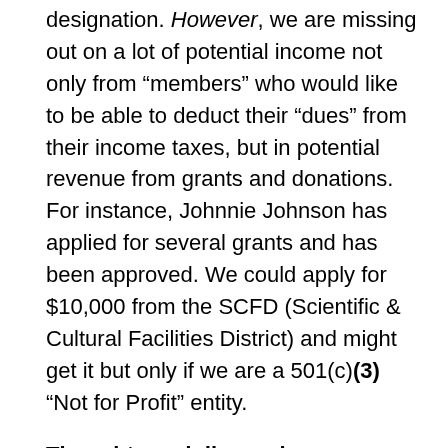designation. However, we are missing out on a lot of potential income not only from "members" who would like to be able to deduct their "dues" from their income taxes, but in potential revenue from grants and donations. For instance, Johnnie Johnson has applied for several grants and has been approved. We could apply for $10,000 from the SCFD (Scientific & Cultural Facilities District) and might get it but only if we are a 501(c)(3) "Not for Profit" entity.
Thoughts and discussion: Discussion about wording about Networking. By-Laws may be written about for profit organization. Discussion about how COMBO's original status came about. When COMBO was forming Networking was a